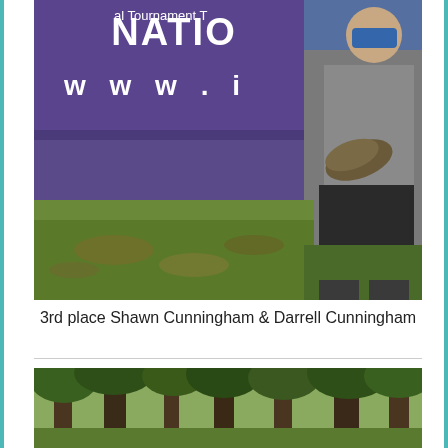[Figure (photo): Person in gray t-shirt and black shorts holding a fish in front of a purple tournament banner reading 'NATIONAL' with 'www.' text visible. Background shows grass and leaves.]
3rd place Shawn Cunningham & Darrell Cunningham
[Figure (photo): Outdoor forest scene with tall trees and green foliage, partially visible at the bottom of the page.]